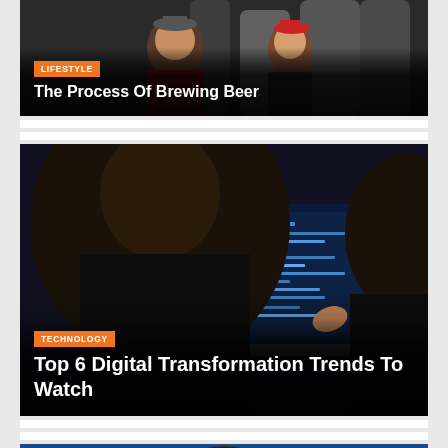[Figure (photo): Two people smiling in a brewery setting with large stainless steel tanks in the background. One person is holding a glass of beer.]
The Process Of Brewing Beer
[Figure (photo): Person from behind pointing at a laptop screen showing code, with another person also looking at the screen.]
Top 6 Digital Transformation Trends To Watch
[Figure (photo): Person partially visible against a blue background, only top of head visible at bottom of page.]